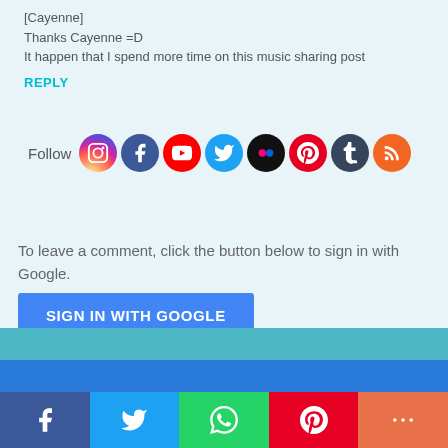[Cayenne]
Thanks Cayenne =D
It happen that I spend more time on this music sharing post
[Figure (infographic): Follow label with social media icons: Instagram, Facebook, YouTube, Twitter, Flickr, Pinterest, Tumblr, RSS]
REPLY
To leave a comment, click the button below to sign in with Google.
[Figure (other): SIGN IN WITH GOOGLE button (blue)]
Look at the brightside!! You are going to speak out! Thanks for dropping by :)
[Figure (infographic): Bottom share bar with Facebook, Twitter, WhatsApp, Pinterest, More buttons]